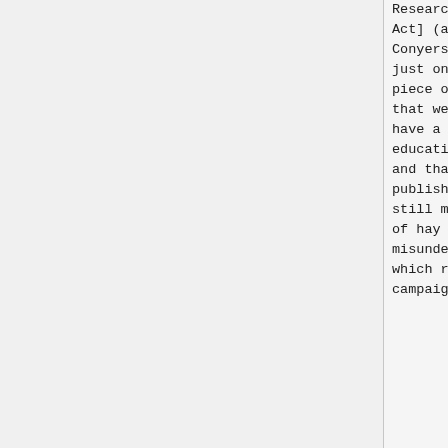Research Works Act] (a.k.a. Conyers bill) is just one recent piece of evidence that we still have a lot of educating to do and that publishers can still make a lot of hay from the misunderstandings which remain. A campaign to
Research Works Act] (a.k.a. Conyers bill) is just one recent piece of evidence that we still have a lot of educating to do and that publishers can still make a lot of hay from the misunderstandings which remain. A campaign to